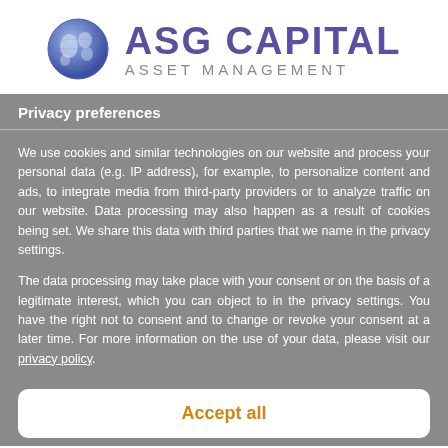[Figure (logo): ASG Capital Asset Management logo with globe icon and purple text]
Privacy preferences
We use cookies and similar technologies on our website and process your personal data (e.g. IP address), for example, to personalize content and ads, to integrate media from third-party providers or to analyze traffic on our website. Data processing may also happen as a result of cookies being set. We share this data with third parties that we name in the privacy settings.
The data processing may take place with your consent or on the basis of a legitimate interest, which you can object to in the privacy settings. You have the right not to consent and to change or revoke your consent at a later time. For more information on the use of your data, please visit our privacy policy.
Accept all